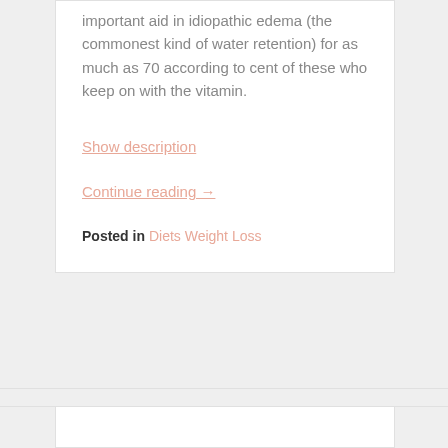important aid in idiopathic edema (the commonest kind of water retention) for as much as 70 according to cent of these who keep on with the vitamin.
Show description
Continue reading →
Posted in Diets Weight Loss